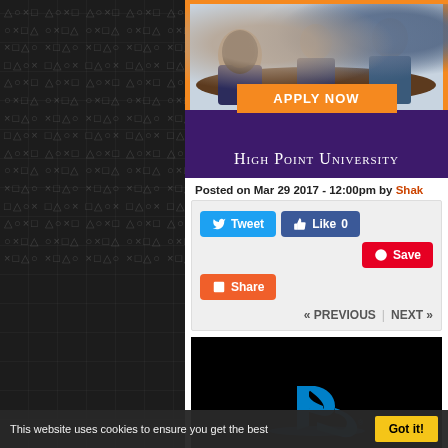[Figure (photo): High Point University advertisement banner with photo of people at a meeting table, orange 'APPLY NOW' button, and university name in white on purple background]
Posted on Mar 29 2017 - 12:00pm by Shak
[Figure (infographic): Social sharing buttons: Tweet (Twitter blue), Like 0 (Facebook blue), Save (Pinterest red), Share (orange)]
« PREVIOUS | NEXT »
[Figure (logo): PlayStation logo (blue PS symbol) on black background]
April is the beginning of the financial year
This website uses cookies to ensure you get the best